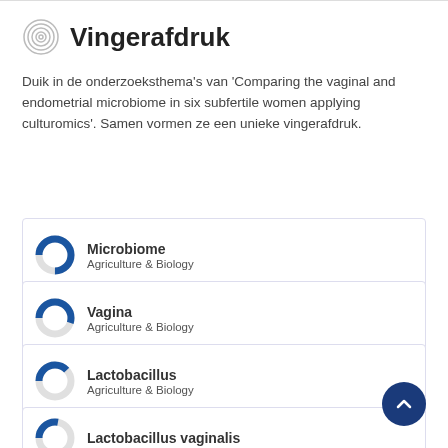Vingerafdruk
Duik in de onderzoeksthema's van 'Comparing the vaginal and endometrial microbiome in six subfertile women applying culturomics'. Samen vormen ze een unieke vingerafdruk.
Microbiome — Agriculture & Biology
Vagina — Agriculture & Biology
Lactobacillus — Agriculture & Biology
Lactobacillus vaginalis